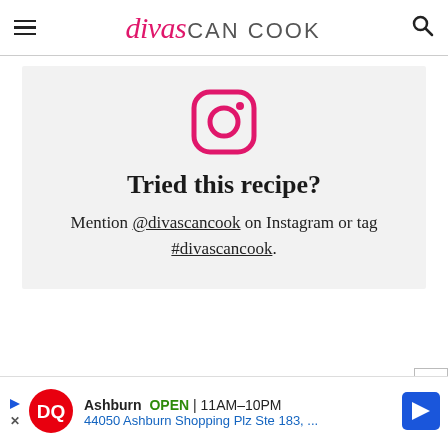divas CAN COOK
[Figure (logo): Instagram icon in pink/magenta color]
Tried this recipe?
Mention @divascancook on Instagram or tag #divascancook.
[Figure (infographic): Advertisement banner: Dairy Queen (DQ) Ashburn OPEN 11AM-10PM, 44050 Ashburn Shopping Plz Ste 183, with navigation arrow icon]